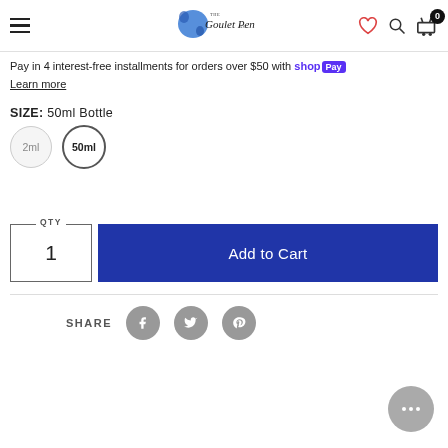Goulet Pen Co. — navigation header with menu, logo, heart, search, cart (0)
Pay in 4 interest-free installments for orders over $50 with Shop Pay
Learn more
SIZE: 50ml Bottle
2ml | 50ml (selected)
QTY 1 — Add to Cart
SHARE
[Figure (screenshot): Social share icons: Facebook, Twitter, Pinterest and a chat/more button]